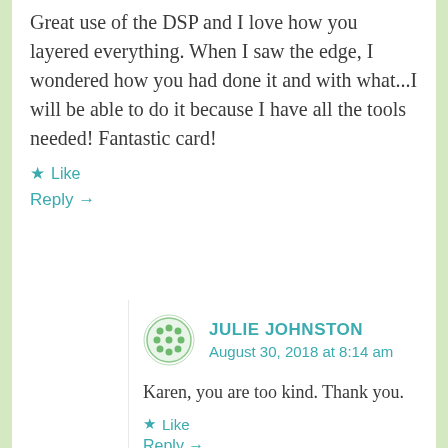Great use of the DSP and I love how you layered everything. When I saw the edge, I wondered how you had done it and with what...I will be able to do it because I have all the tools needed! Fantastic card!
★ Like
Reply →
JULIE JOHNSTON
August 30, 2018 at 8:14 am
Karen, you are too kind. Thank you.
★ Like
Reply →